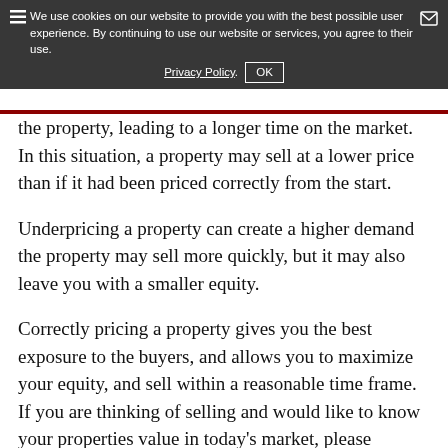We use cookies on our website to provide you with the best possible user experience. By continuing to use our website or services, you agree to their use. Privacy Policy. OK
the property, leading to a longer time on the market. In this situation, a property may sell at a lower price than if it had been priced correctly from the start.
Underpricing a property can create a higher demand the property may sell more quickly, but it may also leave you with a smaller equity.
Correctly pricing a property gives you the best exposure to the buyers, and allows you to maximize your equity, and sell within a reasonable time frame. If you are thinking of selling and would like to know your properties value in today's market, please contact us.
Tell us about your property.